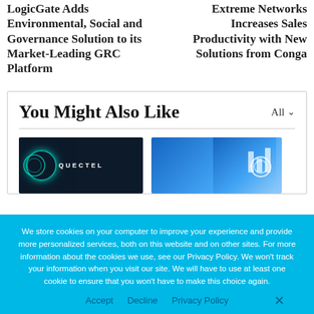LogicGate Adds Environmental, Social and Governance Solution to its Market-Leading GRC Platform
Extreme Networks Increases Sales Productivity with New Solutions from Conga
You Might Also Like
[Figure (photo): Dark background image with Quectel logo and glowing circular graphic]
[Figure (photo): Blue-toned image of a person touching digital interface with chart icons]
We store cookies on your computer to improve your experience and provide more personalized services, both on this website and on other sites. For more information about the cookies we use, see our Privacy Policy. We won't track your information when you visit our site. We will have to use at least one cookie to ensure that you won't have to make this choice again.
Accept   Decline   Privacy Policy